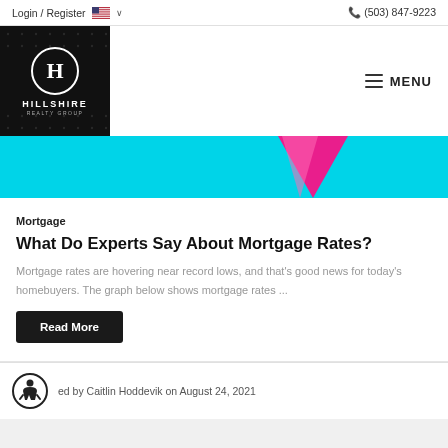Login / Register  (503) 847-9223
[Figure (logo): Hillshire Realty Group logo — black square with white dotted border, circular H emblem, HILLSHIRE text and REALTY GROUP below]
Mortgage
What Do Experts Say About Mortgage Rates?
Mortgage rates are hovering near record lows, and that's good news for today's homebuyers. The graph below shows mortgage rates ...
Read More
ed by Caitlin Hoddevik on August 24, 2021